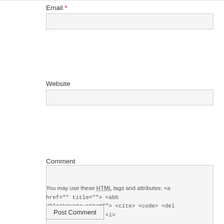Email *
Website
Comment
You may use these HTML tags and attributes: <a href="" title=""> <abb <blockquote cite=""> <cite> <code> <del datetime=""> <em> <i>
Post Comment